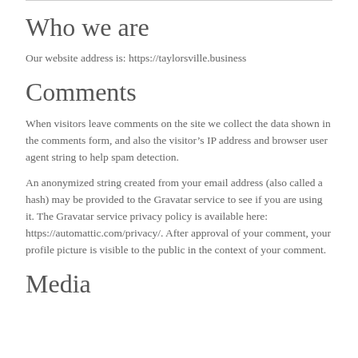Who we are
Our website address is: https://taylorsville.business
Comments
When visitors leave comments on the site we collect the data shown in the comments form, and also the visitor’s IP address and browser user agent string to help spam detection.
An anonymized string created from your email address (also called a hash) may be provided to the Gravatar service to see if you are using it. The Gravatar service privacy policy is available here: https://automattic.com/privacy/. After approval of your comment, your profile picture is visible to the public in the context of your comment.
Media